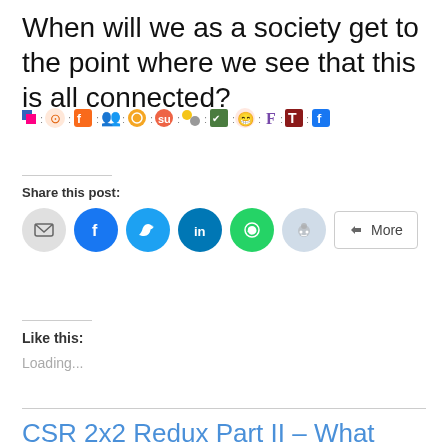When will we as a society get to the point where we see that this is all connected?
[Figure (infographic): A row of social bookmarking/sharing service icons separated by colons: Delicious, Digg, FriendFeed, Myspace, Orkut, StumbleUpon, Yahoo, Tipd, Reddit, FriendFeed (F), Typography (T), Facebook]
Share this post:
[Figure (infographic): Social sharing buttons: Email (grey circle), Facebook (blue circle), Twitter (light blue circle), LinkedIn (dark blue circle), WhatsApp (green circle), Reddit (light blue circle), and a More button]
Like this:
Loading...
CSR 2x2 Redux Part II – What